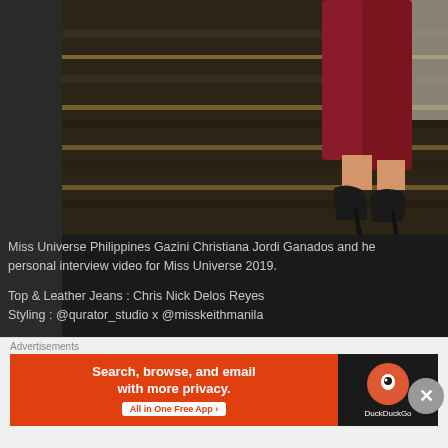[Figure (photo): Lower legs of a person wearing dark red/burgundy leather pants and black pointed-toe high heels, standing on dark striped stairs/flooring]
Miss Universe Philippines Gazini Christiana Jordi Ganados and her personal interview video for Miss Universe 2019.

Top & Leather Jeans : Chris Nick Delos Reyes
Styling : @qurator_studio x @misskeithmanila

#gaziniganados #missuniversephilippines2019 #missuniverse201…
[Figure (advertisement): DuckDuckGo advertisement banner: 'Search, browse, and email with more privacy. All in One Free App' with DuckDuckGo logo on dark background]